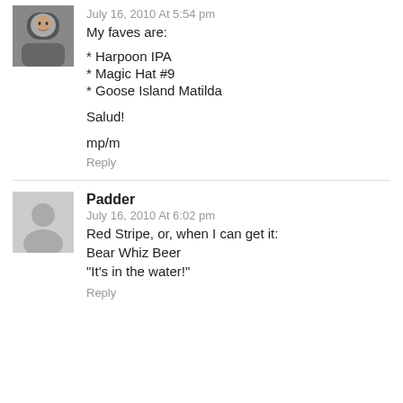July 16, 2010 At 5:54 pm
My faves are:
* Harpoon IPA
* Magic Hat #9
* Goose Island Matilda
Salud!
mp/m
Reply
Padder
July 16, 2010 At 6:02 pm
Red Stripe, or, when I can get it:
Bear Whiz Beer
“It’s in the water!”
Reply